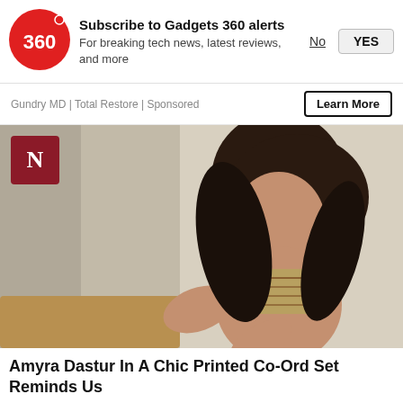[Figure (logo): Gadgets 360 red circle logo with '360' text]
Subscribe to Gadgets 360 alerts
For breaking tech news, latest reviews, and more
No  YES
Gundry MD | Total Restore | Sponsored
Learn More
[Figure (photo): Photo of Amyra Dastur in a chic printed co-ord set, posing against a light background]
Amyra Dastur In A Chic Printed Co-Ord Set Reminds Us